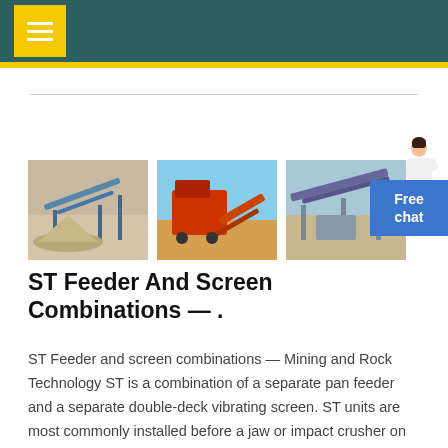[Figure (photo): Three photos of mining/crushing equipment and screening plant installations in outdoor settings]
ST Feeder And Screen Combinations — .
ST Feeder and screen combinations — Mining and Rock Technology ST is a combination of a separate pan feeder and a separate double-deck vibrating screen. ST units are most commonly installed before a jaw or impact crusher on